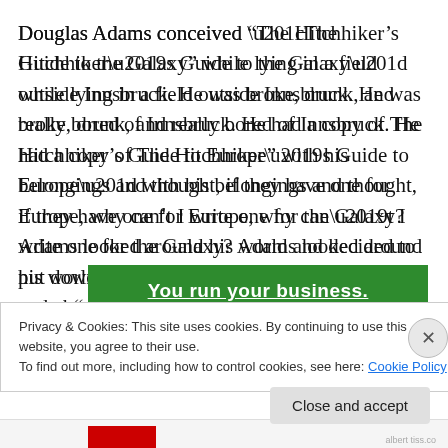Douglas Adams conceived “The Hitchhiker’s Guide to the Galaxy” while lying in a field outside Innsbruck. He was broke, drunk, and really bored of Innsbruck. He had a copy of The Hitchhiker’s Guide to Europe” with his belongings and thought, if they have one for Europe, why can’t I write one for the Galaxy? Adams looked around his world and decided to put down his foresight and absurdity down on paper. “After all” he said, “Have you ever been to Innsbruck?”
[Figure (screenshot): Green banner ad partially visible with bold white underlined text]
Privacy & Cookies: This site uses cookies. By continuing to use this website, you agree to their use.
To find out more, including how to control cookies, see here: Cookie Policy
Close and accept